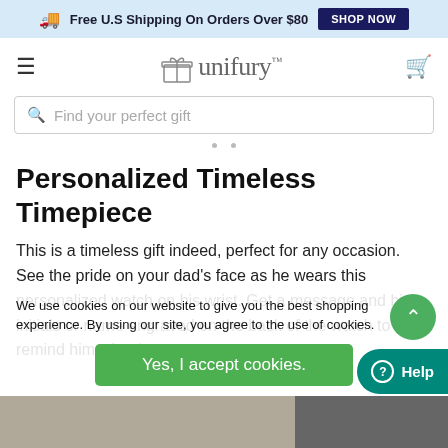Free U.S Shipping On Orders Over $80  SHOP NOW
[Figure (logo): Unifury logo with gift box icon and brand name]
[Figure (screenshot): Search bar with placeholder text: Find your perfect gift]
Personalized Timeless Timepiece
This is a timeless gift indeed, perfect for any occasion. See the pride on your dad’s face as he wears this personalized watch on his wrist. Get a message and his initials or name engraved on the back of the watch to remind him what he means to you.
We use cookies on our website to give you the best shopping experience. By using our site, you agree to the use of cookies.
[Figure (other): Yes, I accept cookies. green button]
[Figure (other): Help button at bottom right]
[Figure (photo): Partial product photo of watch at bottom of page]